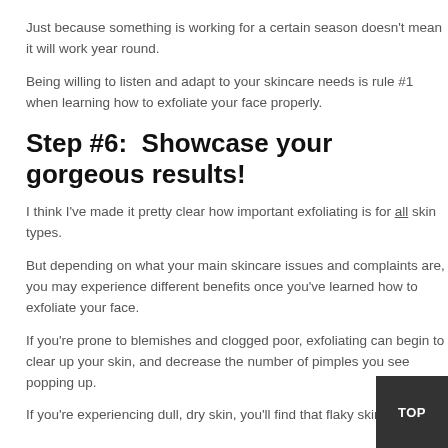Just because something is working for a certain season doesn't mean it will work year round.
Being willing to listen and adapt to your skincare needs is rule #1 when learning how to exfoliate your face properly.
Step #6:  Showcase your gorgeous results!
I think I've made it pretty clear how important exfoliating is for all skin types.
But depending on what your main skincare issues and complaints are, you may experience different benefits once you've learned how to exfoliate your face.
If you're prone to blemishes and clogged poor, exfoliating can begin to clear up your skin, and decrease the number of pimples you see popping up.
If you're experiencing dull, dry skin, you'll find that flaky skin is